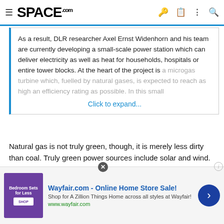SPACE.com
As a result, DLR researcher Axel Ernst Widenhorn and his team are currently developing a small-scale power station which can deliver electricity as well as heat for households, hospitals or entire tower blocks. At the heart of the project is a microgas turbine which, fuelled by natural gases, is expected to reach as high an efficiency rating as possible. In this small
Click to expand...
Natural gas is not truly green, though, it is merely less dirty than coal. Truly green power sources include solar and wind. Nuclear, when done right (thorium, uranium with reprocessing), can also be green.
I definitely agree about distributed energy, although, my version of
[Figure (screenshot): Wayfair.com advertisement banner: Online Home Store Sale! Shop for A Zillion Things Home across all styles at Wayfair! www.wayfair.com]